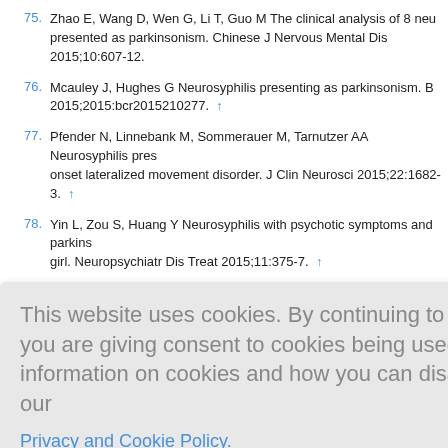75. Zhao E, Wang D, Wen G, Li T, Guo M The clinical analysis of 8 neu presented as parkinsonism. Chinese J Nervous Mental Dis 2015;10:607-12.
76. Mcauley J, Hughes G Neurosyphilis presenting as parkinsonism. B 2015;2015:bcr2015210277. ↑
77. Pfender N, Linnebank M, Sommerauer M, Tarnutzer AA Neurosyphilis pres onset lateralized movement disorder. J Clin Neurosci 2015;22:1682-3. ↑
78. Yin L, Zou S, Huang Y Neurosyphilis with psychotic symptoms and parkins girl. Neuropsychiatr Dis Treat 2015;11:375-7. ↑
tor: A case
ychosis and
involuntary Mov (N Y) 2
Teaching vid ly 2017;88:e
83. Nielsen RM, Sadovina E Neurosyphilis as diferential diagnosis in psychiatr 2017;179:V04170280. ↑
This website uses cookies. By continuing to use this website you are giving consent to cookies being used. For information on cookies and how you can disable them visit our Privacy and Cookie Policy.
AGREE & PROCEED